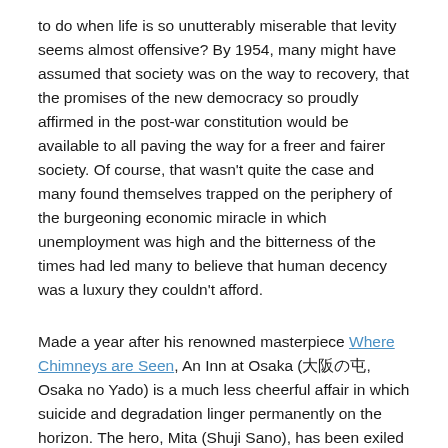to do when life is so unutterably miserable that levity seems almost offensive? By 1954, many might have assumed that society was on the way to recovery, that the promises of the new democracy so proudly affirmed in the post-war constitution would be available to all paving the way for a freer and fairer society. Of course, that wasn't quite the case and many found themselves trapped on the periphery of the burgeoning economic miracle in which unemployment was high and the bitterness of the times had led many to believe that human decency was a luxury they couldn't afford.
Made a year after his renowned masterpiece Where Chimneys are Seen, An Inn at Osaka (大阪の宿, Osaka no Yado) is a much less cheerful affair in which suicide and degradation linger permanently on the horizon. The hero, Mita (Shuji Sano), has been exiled from Tokyo, demoted to the Osaka office after slapping his boss in argument over immoral business practices. Much reduced in circumstances, he has been unable to find a lodging house that suits his budget, the landlady...